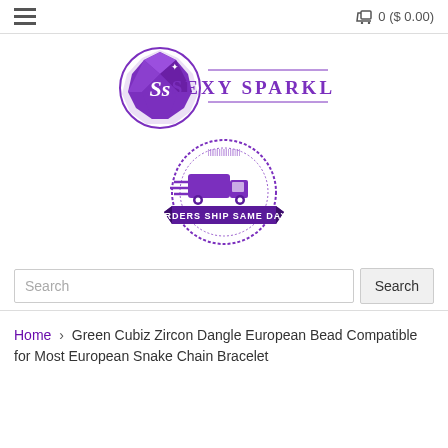☰   🛒 0 ($ 0.00)
[Figure (logo): Sexy Sparkles logo with purple gem/diamond icon and brand text 'SEXY SPARKLES']
[Figure (logo): Orders Ship Same Day! badge with purple van and banner ribbon]
Search
Home › Green Cubiz Zircon Dangle European Bead Compatible for Most European Snake Chain Bracelet